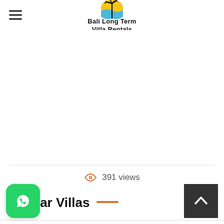Bali Long Term Villa Rentals
391 views
Similar Villas
[Figure (logo): WhatsApp icon button at bottom-left]
[Figure (other): Back-to-top arrow button at bottom-right]